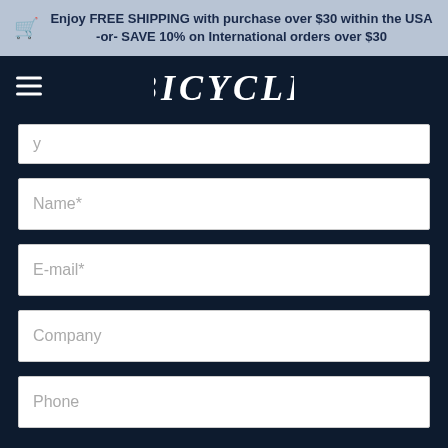Enjoy FREE SHIPPING with purchase over $30 within the USA -or- SAVE 10% on International orders over $30
[Figure (logo): Bicycle playing cards logo in white stylized serif font on dark navy background]
Name*
E-mail*
Company
Phone
Quantity